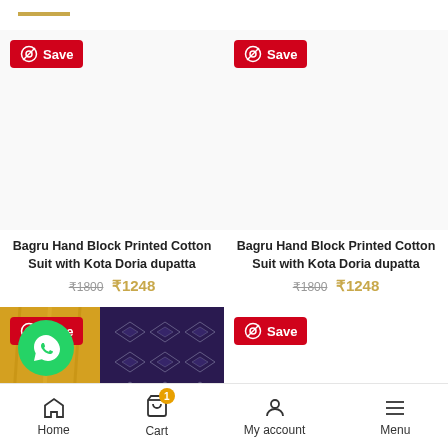[Figure (screenshot): Gold horizontal line decoration at top left]
[Figure (photo): Product image placeholder - Bagru Hand Block Printed Cotton Suit (left)]
[Figure (photo): Product image placeholder - Bagru Hand Block Printed Cotton Suit (right)]
Bagru Hand Block Printed Cotton Suit with Kota Doria dupatta
₹1800 ₹1248
Bagru Hand Block Printed Cotton Suit with Kota Doria dupatta
₹1800 ₹1248
[Figure (photo): Yellow and dark purple fabric texture photo]
[Figure (photo): Product image placeholder (right, bottom row)]
[Figure (screenshot): WhatsApp green floating button]
Home   Cart   My account   Menu